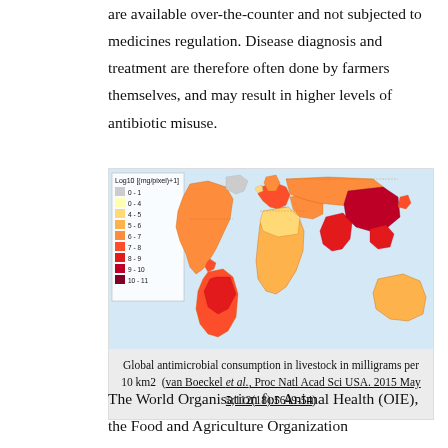are available over-the-counter and not subjected to medicines regulation. Disease diagnosis and treatment are therefore often done by farmers themselves, and may result in higher levels of antibiotic misuse.
[Figure (map): World map showing global antimicrobial consumption in livestock in milligrams per 10 km2, with a color scale from Log10[(mg/pixel)+1] ranging 0-1 (light grey) to 10-11 (very dark red/maroon). Hotspots visible in East Asia (China, India), parts of South America, Europe, and North America.]
Global antimicrobial consumption in livestock in milligrams per 10 km2 (van Boeckel et al., Proc Natl Acad Sci USA. 2015 May 5;112(18):5649-54)
The World Organisation for Animal Health (OIE), the Food and Agriculture Organization